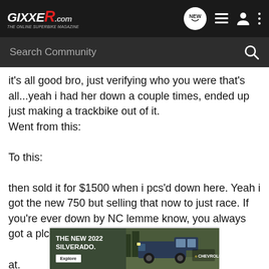GIXXER .com — navigation bar with Search Community, NEW chat, list, user, and menu icons
it's all good bro, just verifying who you were that's all...yeah i had her down a couple times, ended up just making a trackbike out of it.
Went from this:

To this:

then sold it for $1500 when i pcs'd down here. Yeah i got the new 750 but selling that now to just race. If you're ever down by NC lemme know, you always got a plce to kick it wherever i'm

at.
[Figure (advertisement): Chevrolet ad banner: THE NEW 2022 SILVERADO. with Explore button and truck image with Chevrolet logo]